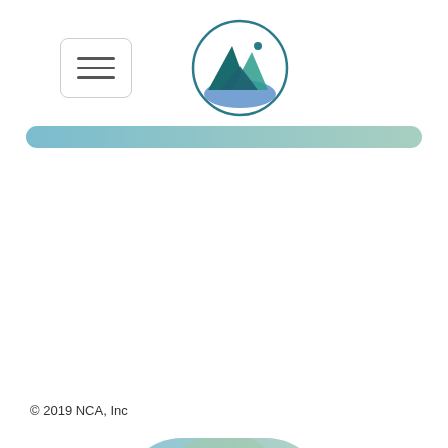[Figure (logo): Mountain landscape logo in a circle with teal and blue colors]
[Figure (screenshot): Top navigation bar with hamburger menu button on left and mountain logo in center]
[Figure (infographic): Pill-shaped banner with gradient from blue to green reading BEST AND BRIGHTEST with a play button on right]
© 2019 NCA, Inc